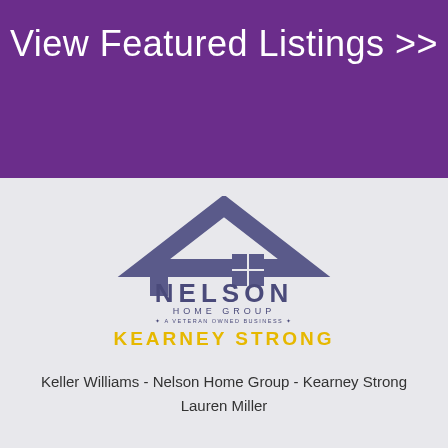View Featured Listings >>
[Figure (logo): Nelson Home Group logo with house icon, 'NELSON HOME GROUP', 'A VETERAN OWNED BUSINESS', and 'KEARNEY STRONG' tagline]
Keller Williams - Nelson Home Group - Kearney Strong
Lauren Miller